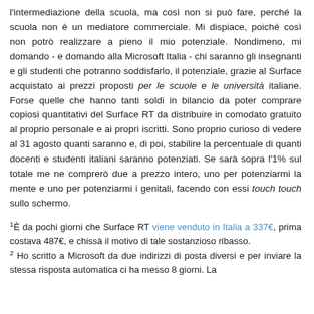l'intermediazione della scuola, ma così non si può fare, perché la scuola non è un mediatore commerciale. Mi dispiace, poiché così non potrò realizzare a pieno il mio potenziale. Nondimeno, mi domando - e domando alla Microsoft Italia - chi saranno gli insegnanti e gli studenti che potranno soddisfarlo, il potenziale, grazie al Surface acquistato ai prezzi proposti per le scuole e le università italiane. Forse quelle che hanno tanti soldi in bilancio da poter comprare copiosi quantitativi del Surface RT da distribuire in comodato gratuito al proprio personale e ai propri iscritti. Sono proprio curioso di vedere al 31 agosto quanti saranno e, di poi, stabilire la percentuale di quanti docenti e studenti italiani saranno potenziati. Se sarà sopra l'1% sul totale me ne comprerò due a prezzo intero, uno per potenziarmi la mente e uno per potenziarmi i genitali, facendo con essi touch touch sullo schermo.
1È da pochi giorni che Surface RT viene venduto in Italia a 337€, prima costava 487€, e chissà il motivo di tale sostanzioso ribasso.
2 Ho scritto a Microsoft da due indirizzi di posta diversi e per inviare la stessa risposta automatica ci ha messo 8 giorni. La